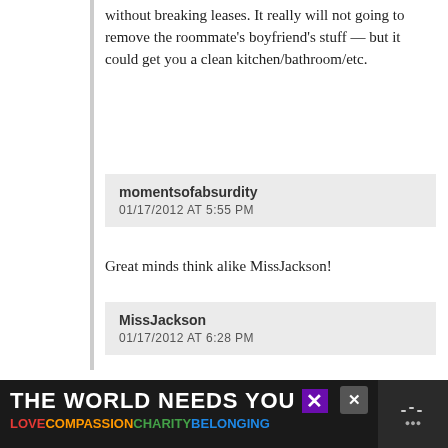without breaking leases. It really will not going to remove the roommate's boyfriend's stuff — but it could get you a clean kitchen/bathroom/etc.
momentsofabsurdity
01/17/2012 AT 5:55 PM
Great minds think alike MissJackson!
MissJackson
01/17/2012 AT 6:28 PM
Ha! I love that we posted at almost exactly the same time, momentsofabsurdity!
Fiona
01/17/2012 AT 4:47 PM
It sounds like you're planning to move into your boyfriend's place, but if not, could you get your own
THE WORLD NEEDS YOU
LOVECOMPASSIONCHARITYBELONGING